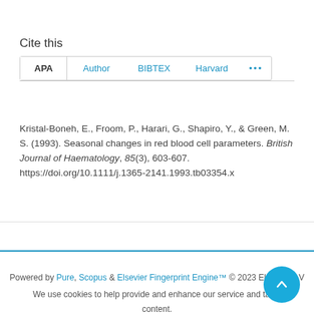Cite this
APA  Author  BIBTEX  Harvard  ...
Kristal-Boneh, E., Froom, P., Harari, G., Shapiro, Y., & Green, M. S. (1993). Seasonal changes in red blood cell parameters. British Journal of Haematology, 85(3), 603-607. https://doi.org/10.1111/j.1365-2141.1993.tb03354.x
Powered by Pure, Scopus & Elsevier Fingerprint Engine™ © 2023 Elsevier B.V
We use cookies to help provide and enhance our service and tailor content.
By continuing you agree to the use of cookies